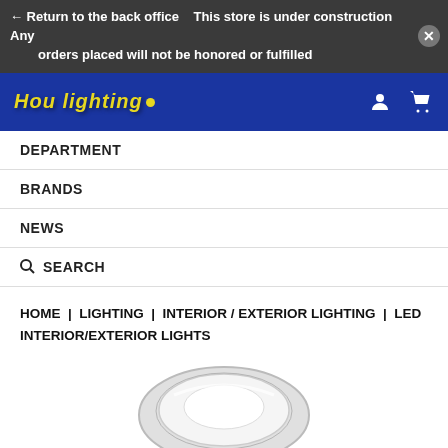← Return to the back office   This store is under construction Any orders placed will not be honored or fulfilled
[Figure (logo): Store logo with stylized italic text and yellow dot, on dark blue background with user and cart icons]
DEPARTMENT
BRANDS
NEWS
SEARCH
HOME | LIGHTING | INTERIOR / EXTERIOR LIGHTING | LED INTERIOR/EXTERIOR LIGHTS
[Figure (photo): Partial view of a round LED interior/exterior light fixture, silver/chrome finish, viewed from above]